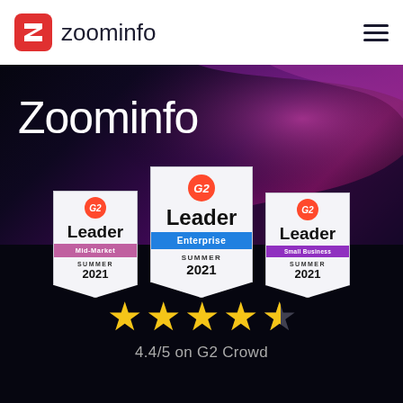[Figure (logo): ZoomInfo logo with red Z icon and hamburger menu in white header bar]
Zoominfo
[Figure (infographic): Three G2 Leader badges: Leader Mid-Market Summer 2021, Leader Enterprise Summer 2021, Leader Small Business Summer 2021]
[Figure (infographic): 4.5 out of 5 stars rating display showing 4 full gold stars and 1 half star, with text 4.4/5 on G2 Crowd]